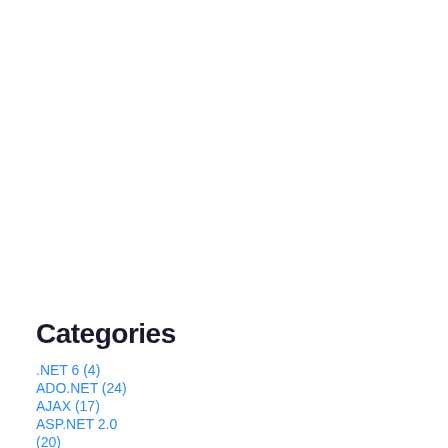Categories
.NET 6 (4)
ADO.NET (24)
AJAX (17)
ASP.NET 2.0
(20)